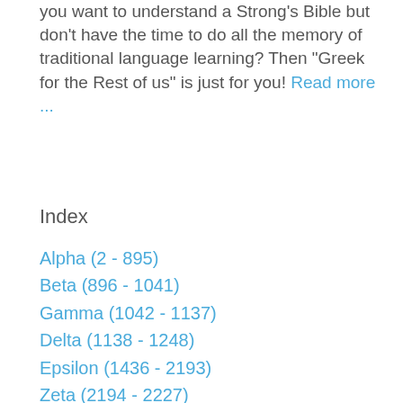you want to understand a Strong's Bible but don't have the time to do all the memory of traditional language learning? Then "Greek for the Rest of us" is just for you! Read more ...
Index
Alpha (2 - 895)
Beta (896 - 1041)
Gamma (1042 - 1137)
Delta (1138 - 1248)
Epsilon (1436 - 2193)
Zeta (2194 - 2227)